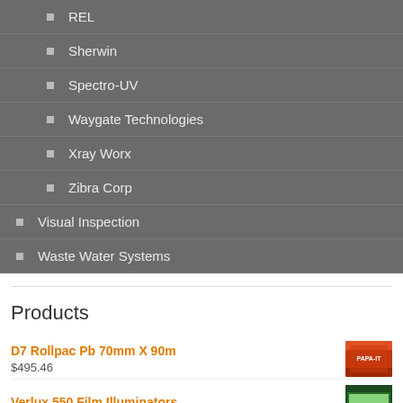REL
Sherwin
Spectro-UV
Waygate Technologies
Xray Worx
Zibra Corp
Visual Inspection
Waste Water Systems
Products
D7 Rollpac Pb 70mm X 90m
$495.46
Verlux 550 Film Illuminators